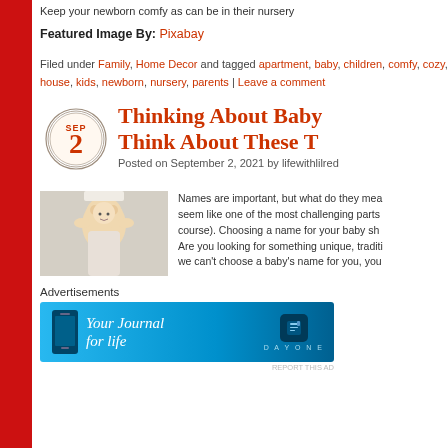Keep your newborn comfy as can be in their nursery
Featured Image By: Pixabay
Filed under Family, Home Decor and tagged apartment, baby, children, comfy, cozy, house, kids, newborn, nursery, parents | Leave a comment
Thinking About Baby Think About These T
Posted on September 2, 2021 by lifewithlilred
[Figure (photo): Baby raising arms in nursery]
Names are important, but what do they mean seem like one of the most challenging parts course). Choosing a name for your baby sh Are you looking for something unique, traditi we can't choose a baby's name for you, you
Advertisements
[Figure (screenshot): DayOne 'Your Journal for life' advertisement banner]